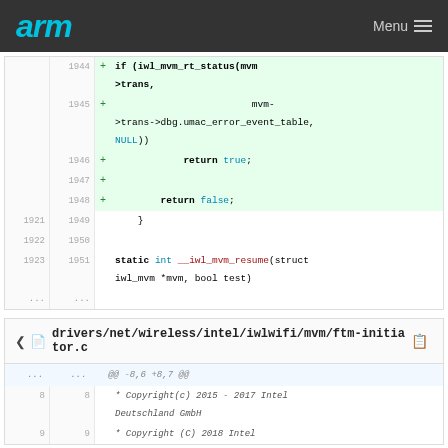arm Menu
[Figure (screenshot): Code diff block showing lines 1944-1951 with added lines (green background) including return true, return false, and static int __iwl_mvm_resume function]
drivers/net/wireless/intel/iwlwifi/mvm/ftm-initiator.c
[Figure (screenshot): Code diff block showing @@ -8,6 +8,7 @@ and Copyright lines for Intel Deutschland GmbH and Intel]